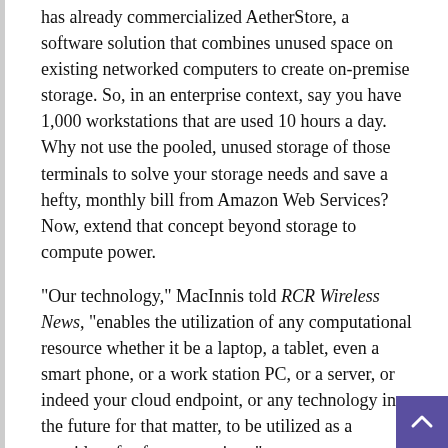has already commercialized AetherStore, a software solution that combines unused space on existing networked computers to create on-premise storage. So, in an enterprise context, say you have 1,000 workstations that are used 10 hours a day. Why not use the pooled, unused storage of those terminals to solve your storage needs and save a hefty, monthly bill from Amazon Web Services? Now, extend that concept beyond storage to compute power.
“Our technology,” MacInnis told RCR Wireless News, “enables the utilization of any computational resource whether it be a laptop, a tablet, even a smart phone, or a work station PC, or a server, or indeed your cloud endpoint, or any technology in the future for that matter, to be utilized as a provider of software services.”
The Search for Extraterrestrial Intelligence (SETI) is a collective-based approach to the monitoring and analysis of electromagnetic radiation for any markets that would